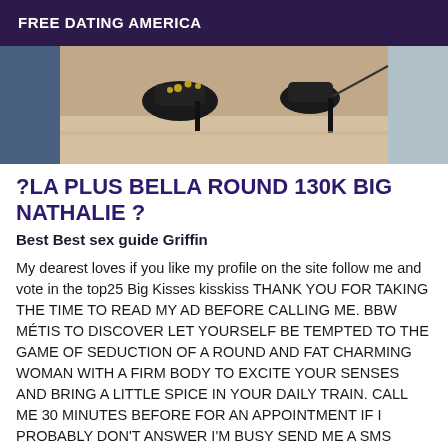FREE DATING AMERICA
[Figure (photo): Photo showing high heeled shoes from above, partial body shot]
?LA PLUS BELLA ROUND 130K BIG NATHALIE ?
Best Best sex guide Griffin
My dearest loves if you like my profile on the site follow me and vote in the top25 Big Kisses kisskiss THANK YOU FOR TAKING THE TIME TO READ MY AD BEFORE CALLING ME. BBW MÉTIS TO DISCOVER LET YOURSELF BE TEMPTED TO THE GAME OF SEDUCTION OF A ROUND AND FAT CHARMING WOMAN WITH A FIRM BODY TO EXCITE YOUR SENSES AND BRING A LITTLE SPICE IN YOUR DAILY TRAIN. CALL ME 30 MINUTES BEFORE FOR AN APPOINTMENT IF I PROBABLY DON'T ANSWER I'M BUSY SEND ME A SMS SERVICES kissMASSAGE